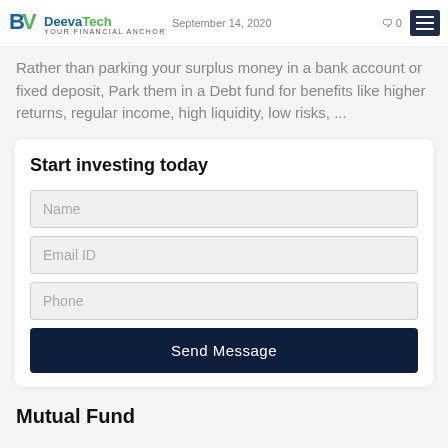DeevaTech | September 14, 2020 | 0 comments
Rather than parking your surplus money in a bank account or fixed deposit, Park them in a Debt fund for benefits like higher returns, regular income, high liquidity, low risks, ...
Start investing today
Name
Email ID
Phone
Send Message
Mutual Fund